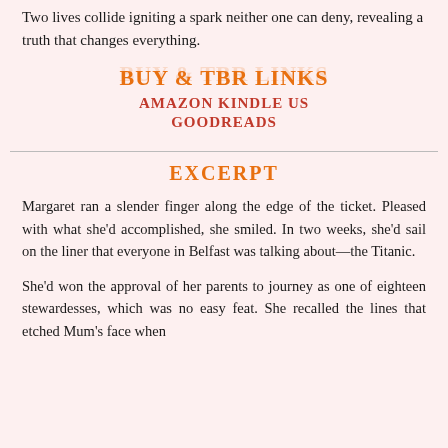Two lives collide igniting a spark neither one can deny, revealing a truth that changes everything.
BUY & TBR LINKS
AMAZON KINDLE US
GOODREADS
EXCERPT
Margaret ran a slender finger along the edge of the ticket. Pleased with what she'd accomplished, she smiled. In two weeks, she'd sail on the liner that everyone in Belfast was talking about—the Titanic.
She'd won the approval of her parents to journey as one of eighteen stewardesses, which was no easy feat. She recalled the lines that etched Mum's face when she told her she was not journeying as one of the